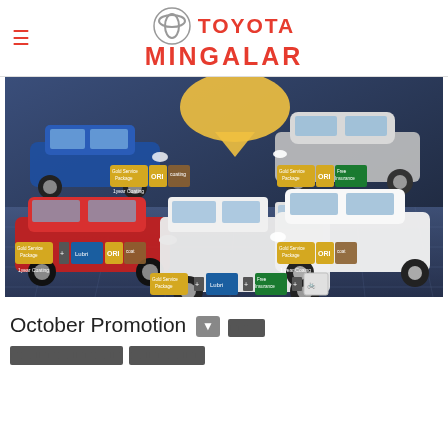Toyota Mingalar - navigation header with logo
[Figure (photo): Toyota Mingalar October promotion banner showing multiple Toyota vehicles (blue Avanza, silver Prius, red Corolla Cross, white Rush, white Granvia) with various promotional badges including Gold Service Package, ORI, Free Insurance, 1 year Coating, and Lubricant offers on a dark blue showroom floor background.]
October Promotion [Myanmar text] [dropdown indicator] [Myanmar text lines]